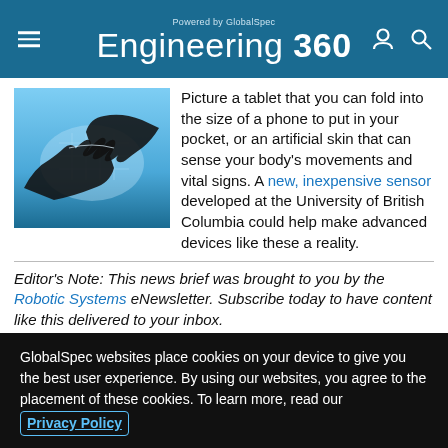Powered by GlobalSpec Engineering 360
[Figure (photo): Silhouette of hands holding a transparent flexible display/sensor sheet against a blue-lit background]
Picture a tablet that you can fold into the size of a phone to put in your pocket, or an artificial skin that can sense your body's movements and vital signs. A new, inexpensive sensor developed at the University of British Columbia could help make advanced devices like these a reality.
Editor's Note: This news brief was brought to you by the Robotic Systems eNewsletter. Subscribe today to have content like this delivered to your inbox.
1 comments; last comment on 04/04/2017
GlobalSpec websites place cookies on your device to give you the best user experience. By using our websites, you agree to the placement of these cookies. To learn more, read our Privacy Policy